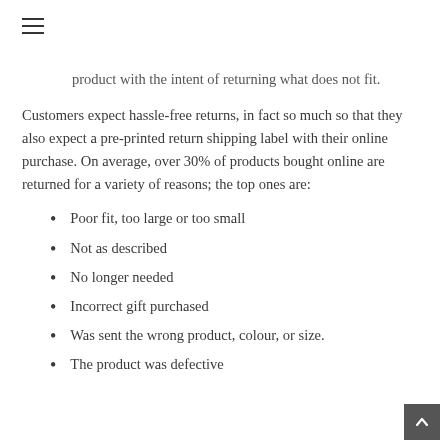product with the intent of returning what does not fit.
Customers expect hassle-free returns, in fact so much so that they also expect a pre-printed return shipping label with their online purchase. On average, over 30% of products bought online are returned for a variety of reasons; the top ones are:
Poor fit, too large or too small
Not as described
No longer needed
Incorrect gift purchased
Was sent the wrong product, colour, or size.
The product was defective